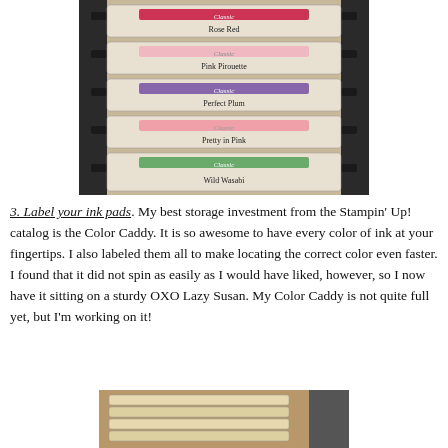[Figure (photo): Stacked Stampin' Up! Classic ink pads in a Color Caddy rack, showing labels: Rose Red, Pink Pirouette, Perfect Plum, Pretty in Pink, Wild Wasabi]
3. Label your ink pads. My best storage investment from the Stampin' Up! catalog is the Color Caddy. It is so awesome to have every color of ink at your fingertips. I also labeled them all to make locating the correct color even faster. I found that it did not spin as easily as I would have liked, however, so I now have it sitting on a sturdy OXO Lazy Susan. My Color Caddy is not quite full yet, but I'm working on it!
[Figure (photo): Bottom portion of a second photo showing stacked ink pads or stamps on a wooden surface]